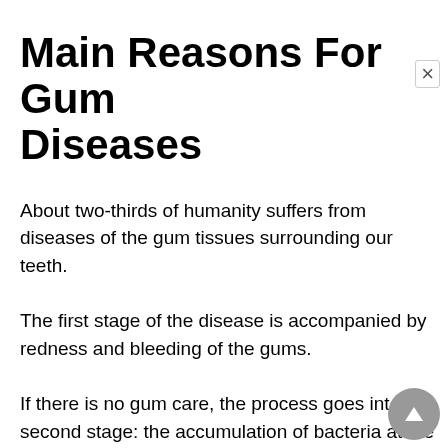Main Reasons For Gum Diseases
About two-thirds of humanity suffers from diseases of the gum tissues surrounding our teeth.
The first stage of the disease is accompanied by redness and bleeding of the gums.
If there is no gum care, the process goes into the second stage: the accumulation of bacteria at the junction of the teeth and gums. This stimulates the development of